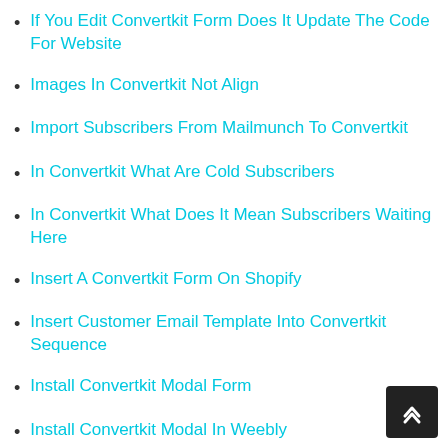If You Edit Convertkit Form Does It Update The Code For Website
Images In Convertkit Not Align
Import Subscribers From Mailmunch To Convertkit
In Convertkit What Are Cold Subscribers
In Convertkit What Does It Mean Subscribers Waiting Here
Insert A Convertkit Form On Shopify
Insert Customer Email Template Into Convertkit Sequence
Install Convertkit Modal Form
Install Convertkit Modal In Weebly